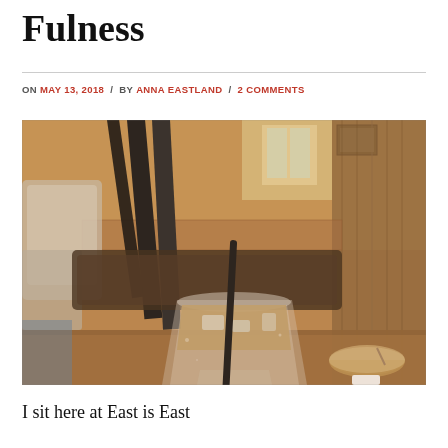Fulness
ON MAY 13, 2018 / BY ANNA EASTLAND / 2 COMMENTS
[Figure (photo): Close-up photo of an iced drink in a wide glass with a black straw, sitting on a wooden table in a cafe with cushioned chairs and rustic wooden decor in the background. A small ceramic cup with a spoon is visible on the right.]
I sit here at East is East